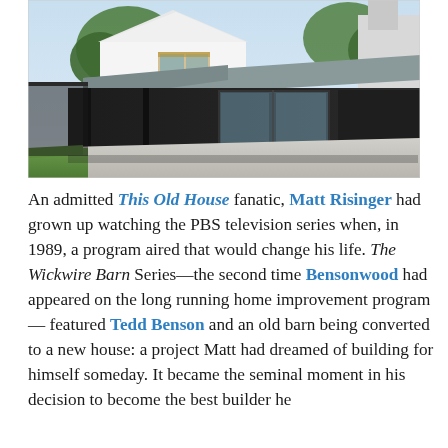[Figure (photo): Exterior architectural photo of a modern home with dark wood/black cladding on a low-slung addition or barn structure with large glass sliding doors, set against a white two-storey gabled house with wood-accented windows, trees in background, under a light blue sky.]
An admitted This Old House fanatic, Matt Risinger had grown up watching the PBS television series when, in 1989, a program aired that would change his life. The Wickwire Barn Series—the second time Bensonwood had appeared on the long running home improvement program— featured Tedd Benson and an old barn being converted to a new house: a project Matt had dreamed of building for himself someday. It became the seminal moment in his decision to become the best builder he